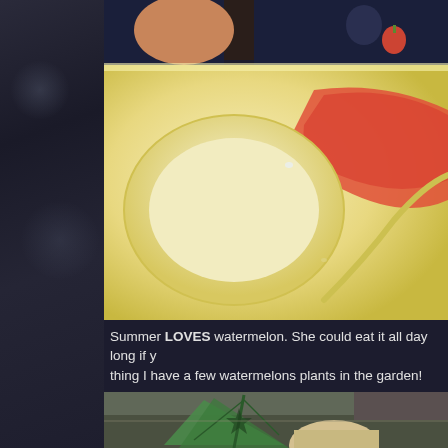[Figure (photo): Close-up photo of a white plastic children's food tray with red watermelon juice pooled in the compartments. A child in a dark owl-print shirt is visible at the top, holding a red fork. The tray shows bright yellow-white color with pinkish-red watermelon juice liquid.]
Summer LOVES watermelon.  She could eat it all day long if y... thing I have a few watermelons plants in the garden!
[Figure (photo): Partial photo showing a person with light hair from behind, a green umbrella or tent structure, and what appears to be a bat or small animal clinging to the structure.]